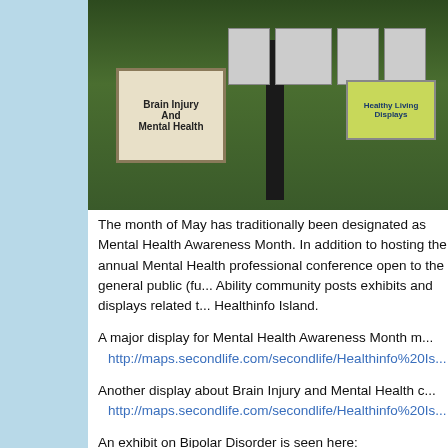[Figure (screenshot): Virtual 3D environment in Second Life showing outdoor displays and signs about Brain Injury and Mental Health on Healthinfo Island, with a Healthy Living Displays sign visible on the right.]
The month of May has traditionally been designated as Mental Health Awareness Month. In addition to hosting the annual Mental Health professional conference open to the general public (fu... Ability community posts exhibits and displays related t... Healthinfo Island.
A major display for Mental Health Awareness Month m... http://maps.secondlife.com/secondlife/Healthinfo%20Is...
Another display about Brain Injury and Mental Health c... http://maps.secondlife.com/secondlife/Healthinfo%20Is...
An exhibit on Bipolar Disorder is seen here: http://maps.secondlife.com/secondlife/Healthinfo%20Is...
Click the title poster of the exhibit or display to get a fu...